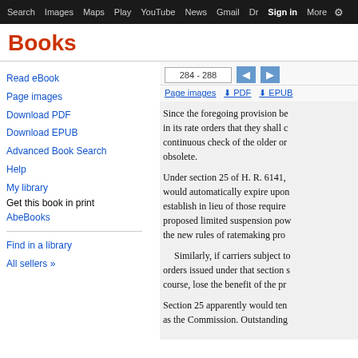Search  Images  Maps  Play  YouTube  News  Gmail  Drive  More  Sign in
Books
Read eBook
Page images
Download PDF
Download EPUB
Advanced Book Search
Help
My library
Get this book in print
AbeBooks
Find in a library
All sellers »
284 - 288
Page images  ⬇ PDF  ⬇ EPUB
Since the foregoing provision be in its rate orders that they shall c continuous check of the older or obsolete.

Under section 25 of H. R. 6141, would automatically expire upon establish in lieu of those require proposed limited suspension pow the new rules of ratemaking pro

Similarly, if carriers subject to orders issued under that section s course, lose the benefit of the pr

Section 25 apparently would ten as the Commission. Outstanding